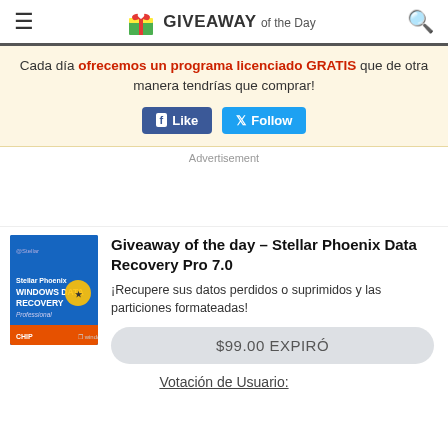GIVEAWAY of the Day
Cada día ofrecemos un programa licenciado GRATIS que de otra manera tendrías que comprar!
[Figure (other): Facebook Like and Twitter Follow buttons]
Advertisement
Giveaway of the day – Stellar Phoenix Data Recovery Pro 7.0
¡Recupere sus datos perdidos o suprimidos y las particiones formateadas!
$99.00 EXPIRÓ
Votación de Usuario: